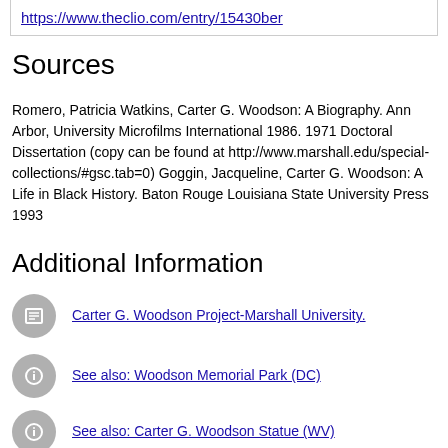https://www.theclio.com/entry/15430ber
Sources
Romero, Patricia Watkins, Carter G. Woodson: A Biography. Ann Arbor, University Microfilms International 1986. 1971 Doctoral Dissertation (copy can be found at http://www.marshall.edu/special-collections/#gsc.tab=0) Goggin, Jacqueline, Carter G. Woodson: A Life in Black History. Baton Rouge Louisiana State University Press 1993
Additional Information
Carter G. Woodson Project-Marshall University.
See also: Woodson Memorial Park (DC)
See also: Carter G. Woodson Statue (WV)
Association for the Study for African American Life and History